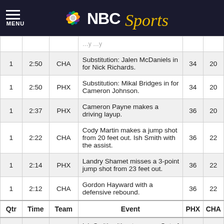[Figure (logo): NBC Sports logo with peacock icon on dark background, with hamburger menu icon and MENU text on the left]
| Qtr | Time | Team | Event | PHX | CHA |
| --- | --- | --- | --- | --- | --- |
| 1 | 2:50 | CHA | Substitution: Jalen McDaniels in for Nick Richards. | 34 | 20 |
| 1 | 2:50 | PHX | Substitution: Mikal Bridges in for Cameron Johnson. | 34 | 20 |
| 1 | 2:37 | PHX | Cameron Payne makes a driving layup. | 36 | 20 |
| 1 | 2:22 | CHA | Cody Martin makes a jump shot from 20 feet out. Ish Smith with the assist. | 36 | 22 |
| 1 | 2:14 | PHX | Landry Shamet misses a 3-point jump shot from 23 feet out. | 36 | 22 |
| 1 | 2:12 | CHA | Gordon Hayward with a defensive rebound. | 36 | 22 |
| Qtr | Time | Team | Event | PHX | CHA |
| 1 | 2:07 | CHA | Ish Smith with a turnover: Out of Bounds - Bad Pass Turnover | 36 | 22 |
| 1 | 1:47 | PHX | Cody Martin steals the ball from Devin Booker. | 36 | 22 |
| 1 |  |  | Kelly Oubre Jr. makes a 3-point jump shot from |  |  |